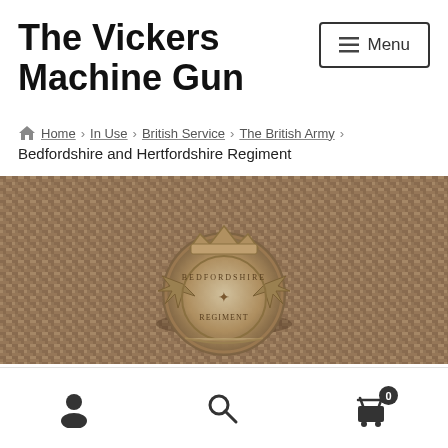The Vickers Machine Gun
Menu
Home › In Use › British Service › The British Army › Bedfordshire and Hertfordshire Regiment
[Figure (photo): Close-up photograph of a military badge or cap badge on a woven fabric/hessian background. The badge appears to be a circular design with a crown on top, placed on a brown/tan burlap or woven textile.]
User account icon | Search icon | Shopping cart icon with badge showing 0